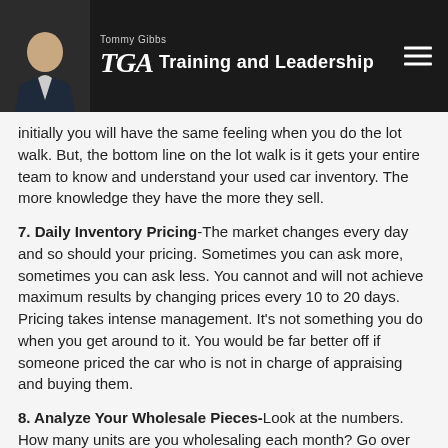Tommy Gibbs Training and Leadership
Initially you will have the same feeling when you do the lot walk. But, the bottom line on the lot walk is it gets your entire team to know and understand your used car inventory. The more knowledge they have the more they sell.
7. Daily Inventory Pricing-The market changes every day and so should your pricing. Sometimes you can ask more, sometimes you can ask less. You cannot and will not achieve maximum results by changing prices every 10 to 20 days. Pricing takes intense management. It's not something you do when you get around to it. You would be far better off if someone priced the car who is not in charge of appraising and buying them.
8. Analyze Your Wholesale Pieces-Look at the numbers. How many units are you wholesaling each month? Go over each unit. How many of them could you have retailed if you opened your mind a bit either relative to pricing and/or the type of product you're willing to keep? Are they early wholesale units or late wholesale units? You need to know the difference between the two. If you have lots of units being